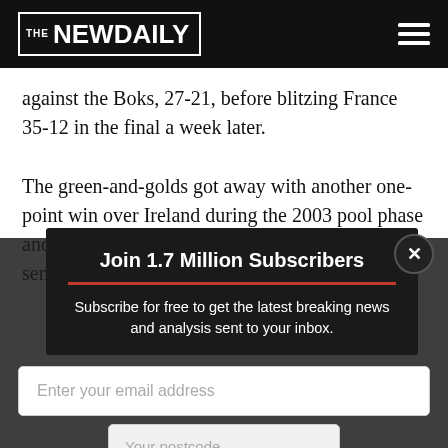THE NEWDAILY
against the Boks, 27-21, before blitzing France 35-12 in the final a week later.
The green-and-golds got away with another one-point win over Ireland during the 2003 pool phase and went on to stun the All Blacks 22-10 in the semis.
Join 1.7 Million Subscribers
Subscribe for free to get the latest breaking news and analysis sent to your inbox.
Enter your email address
Your postcode
Subscribe